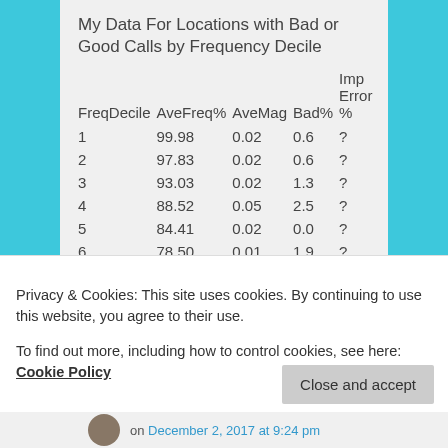My Data For Locations with Bad or Good Calls by Frequency Decile
| FreqDecile | AveFreq% | AveMag | Bad% | Imp Error % |
| --- | --- | --- | --- | --- |
| 1 | 99.98 | 0.02 | 0.6 | ? |
| 2 | 97.83 | 0.02 | 0.6 | ? |
| 3 | 93.03 | 0.02 | 1.3 | ? |
| 4 | 88.52 | 0.05 | 2.5 | ? |
| 5 | 84.41 | 0.02 | 0.0 | ? |
| 6 | 78.50 | 0.01 | 1.9 | ? |
| 7 | 69.73 | 0.20 | 8.2 | ? |
| 8 | 56.77 | 0.42 | 18.2 | ? |
| 9 | 43.95 | 0.70 | 39.0 | ? |
| 10 | 24.03 | 0.84 | 36.5 | ? |
Privacy & Cookies: This site uses cookies. By continuing to use this website, you agree to their use.
To find out more, including how to control cookies, see here: Cookie Policy
on December 2, 2017 at 9:24 pm